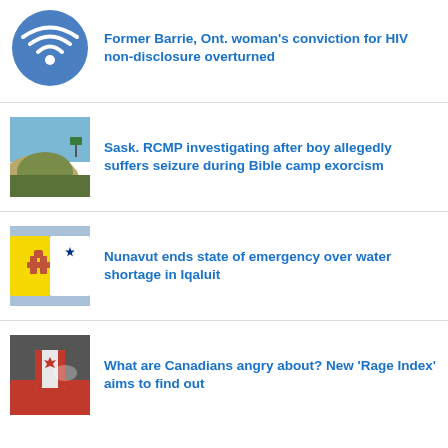[Figure (illustration): Blue circle with white WiFi/signal icon]
Former Barrie, Ont. woman's conviction for HIV non-disclosure overturned
[Figure (photo): Landscape photo with grassy sandy hills and blue sky, green road sign visible]
Sask. RCMP investigating after boy allegedly suffers seizure during Bible camp exorcism
[Figure (photo): Nunavut flag waving, yellow and white with inukshuk figure, blue sky]
Nunavut ends state of emergency over water shortage in Iqaluit
[Figure (photo): Canadian flag with red maple leaf, partial view of vehicle or machinery]
What are Canadians angry about? New 'Rage Index' aims to find out